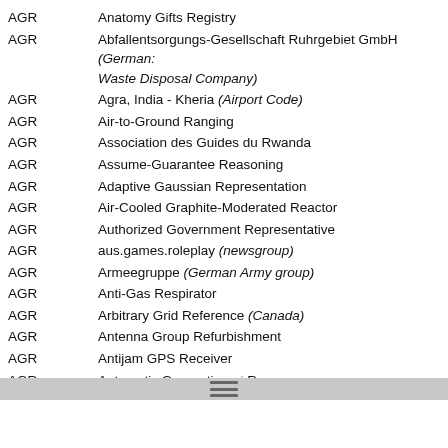AGR — Anatomy Gifts Registry
AGR — Abfallentsorgungs-Gesellschaft Ruhrgebiet GmbH (German: Waste Disposal Company)
AGR — Agra, India - Kheria (Airport Code)
AGR — Air-to-Ground Ranging
AGR — Association des Guides du Rwanda
AGR — Assume-Guarantee Reasoning
AGR — Adaptive Gaussian Representation
AGR — Air-Cooled Graphite-Moderated Reactor
AGR — Authorized Government Representative
AGR — aus.games.roleplay (newsgroup)
AGR — Armeegruppe (German Army group)
AGR — Anti-Gas Respirator
AGR — Arbitrary Grid Reference (Canada)
AGR — Antenna Group Refurbishment
AGR — Antijam GPS Receiver
AGR — Automatic Generation of Resources